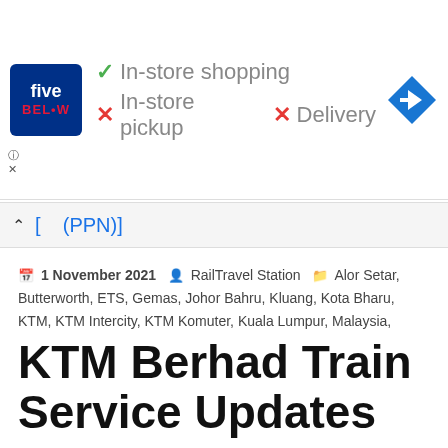[Figure (infographic): Five Below store advertisement banner showing In-store shopping (checkmark), In-store pickup (X), and Delivery (X) options with a navigation arrow icon on the right]
[ (PPN)]
1 November 2021 · RailTravel Station · Alor Setar, Butterworth, ETS, Gemas, Johor Bahru, Kluang, Kota Bharu, KTM, KTM Intercity, KTM Komuter, Kuala Lumpur, Malaysia, Melaka, Padang Besar, Penang, RailTravel Guides, Seremban, Singapore, Tampin, Train Reviews, Tumpat, Updates · 2 comments
KTM Berhad Train Service Updates